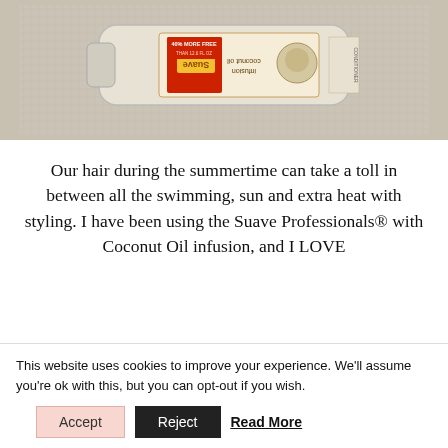[Figure (photo): A Suave Professionals Coconut Oil Infusion conditioner bottle photographed lying on its side, label visible upside-down reading 'coconut oil infusion' with a '40% more free' banner. The bottle is cream/beige colored against a light towel background.]
Our hair during the summertime can take a toll in between all the swimming, sun and extra heat with styling. I have been using the Suave Professionals® with Coconut Oil infusion, and I LOVE
This website uses cookies to improve your experience. We'll assume you're ok with this, but you can opt-out if you wish.